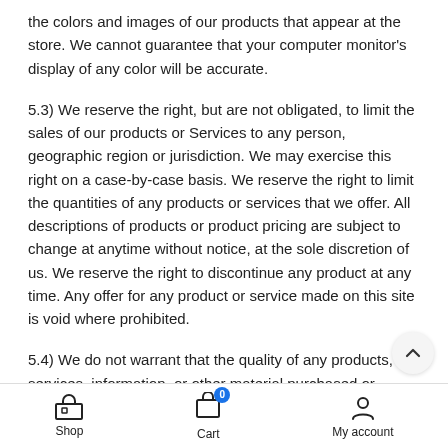the colors and images of our products that appear at the store. We cannot guarantee that your computer monitor's display of any color will be accurate.
5.3) We reserve the right, but are not obligated, to limit the sales of our products or Services to any person, geographic region or jurisdiction. We may exercise this right on a case-by-case basis. We reserve the right to limit the quantities of any products or services that we offer. All descriptions of products or product pricing are subject to change at anytime without notice, at the sole discretion of us. We reserve the right to discontinue any product at any time. Any offer for any product or service made on this site is void where prohibited.
5.4) We do not warrant that the quality of any products, services, information, or other material purchased or obtained by you will meet your expectations, or that any errors in the Service will be corrected.
Shop   Cart   My account